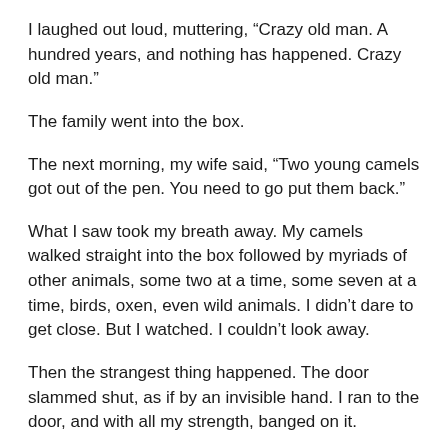I laughed out loud, muttering, “Crazy old man. A hundred years, and nothing has happened. Crazy old man.”
The family went into the box.
The next morning, my wife said, “Two young camels got out of the pen. You need to go put them back.”
What I saw took my breath away. My camels walked straight into the box followed by myriads of other animals, some two at a time, some seven at a time, birds, oxen, even wild animals. I didn’t dare to get close. But I watched. I couldn’t look away.
Then the strangest thing happened. The door slammed shut, as if by an invisible hand. I ran to the door, and with all my strength, banged on it.